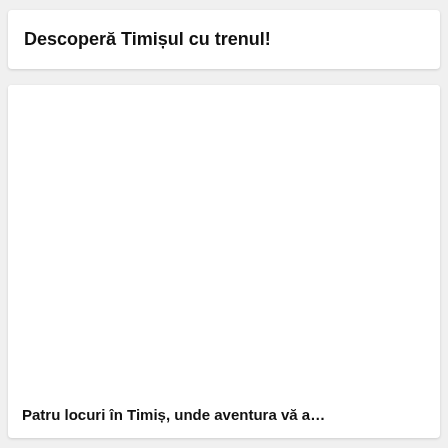Descoperă Timișul cu trenul!
[Figure (photo): A blank/white image placeholder within a card layout]
Patru locuri în Timiș, unde aventura vă a…